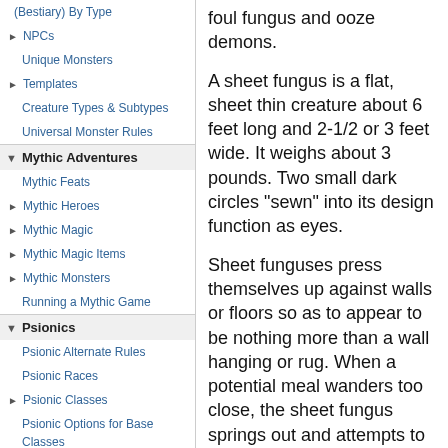(Bestiary) By Type
NPCs
Unique Monsters
Templates
Creature Types & Subtypes
Universal Monster Rules
Mythic Adventures
Mythic Feats
Mythic Heroes
Mythic Magic
Mythic Magic Items
Mythic Monsters
Running a Mythic Game
Psionics
Psionic Alternate Rules
Psionic Races
Psionic Classes
Psionic Options for Base Classes
Psionic Prestige Classes
Psionic Skills
Psionic Feats
Psionic Equipment
foul fungus and ooze demons.
A sheet fungus is a flat, sheet thin creature about 6 feet long and 2-1/2 or 3 feet wide. It weighs about 3 pounds. Two small dark circles "sewn" into its design function as eyes.
Sheet funguses press themselves up against walls or floors so as to appear to be nothing more than a wall hanging or rug. When a potential meal wanders too close, the sheet fungus springs out and attempts to envelope the target in its body. A grabbed opponent is held until it dies or until the sheet fungus takes 3/4 or more of its hit points in damage at which